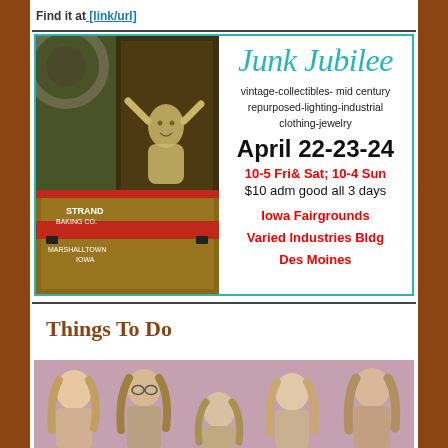Find it at [link/url]
[Figure (illustration): Advertisement for Junk Jubilee vintage show at Iowa Fairgrounds. Left side shows painting of antique trunk labeled STRAND BAKING CO. MARSHALLTOWN IOWA with a ghostly cherub figure. Right side has event details.]
Junk Jubilee
vintage-collectibles- mid century
repurposed-lighting-industrial
clothing-jewelry
April 22-23-24
10-5 Fri& Sat; 10-4 Sun
$10 adm good all 3 days
Iowa Fairgrounds
Varied Industries Bldg
Des Moines
Things To Do
[Figure (photo): Group photo of a band with 5-6 members with long hair against a pink/purple background]